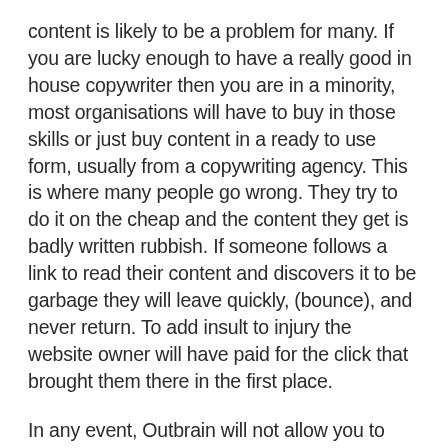content is likely to be a problem for many. If you are lucky enough to have a really good in house copywriter then you are in a minority, most organisations will have to buy in those skills or just buy content in a ready to use form, usually from a copywriting agency. This is where many people go wrong. They try to do it on the cheap and the content they get is badly written rubbish. If someone follows a link to read their content and discovers it to be garbage they will leave quickly, (bounce), and never return. To add insult to injury the website owner will have paid for the click that brought them there in the first place.
In any event, Outbrain will not allow you to publish anything which does not meet their standards and guidelines so don't even think about trying to cut corners when you do this